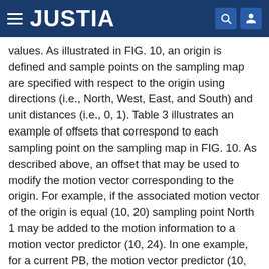JUSTIA
values. As illustrated in FIG. 10, an origin is defined and sample points on the sampling map are specified with respect to the origin using directions (i.e., North, West, East, and South) and unit distances (i.e., 0, 1). Table 3 illustrates an example of offsets that correspond to each sampling point on the sampling map in FIG. 10. As described above, an offset that may be used to modify the motion vector corresponding to the origin. For example, if the associated motion vector of the origin is equal (10, 20) sampling point North 1 may be added to the motion information to a motion vector predictor (10, 24). In one example, for a current PB, the motion vector predictor (10, 24) may be inherited to generate a prediction. In one example, for a current PB, a delta value may be added to the motion vector predictor (10, 24) to generate a prediction.